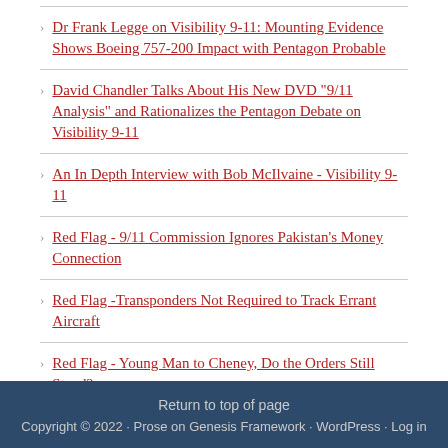Dr Frank Legge on Visibility 9-11: Mounting Evidence Shows Boeing 757-200 Impact with Pentagon Probable
David Chandler Talks About His New DVD "9/11 Analysis" and Rationalizes the Pentagon Debate on Visibility 9-11
An In Depth Interview with Bob McIlvaine - Visibility 9-11
Red Flag - 9/11 Commission Ignores Pakistan's Money Connection
Red Flag -Transponders Not Required to Track Errant Aircraft
Red Flag - Young Man to Cheney, Do the Orders Still Stand?
Red Flag - The Bush Administration Opposed a 9/11 Commission
Red Flag - 9/11 Commission, Set Up to Fail
Return to top of page
Copyright © 2022 · Prose on Genesis Framework · WordPress · Log in